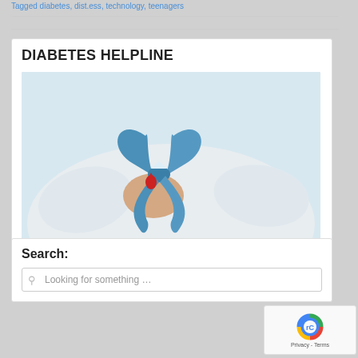Tagged diabetes, diabetes, technology, teenagers
DIABETES HELPLINE
[Figure (photo): Person in white sweater holding a blue awareness ribbon with a red blood drop symbol, representing diabetes awareness.]
Search:
Looking for something …